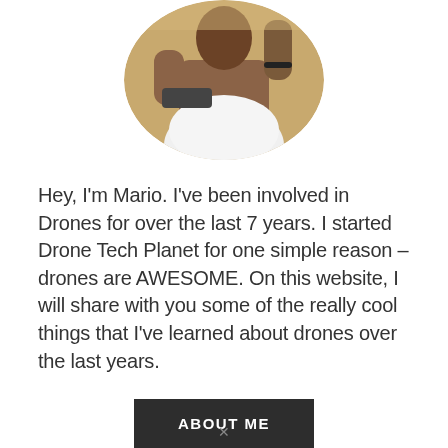[Figure (photo): Circular cropped photo of a man in a white shirt holding a drone controller, with a warm outdoor background]
Hey, I'm Mario. I've been involved in Drones for over the last 7 years. I started Drone Tech Planet for one simple reason – drones are AWESOME. On this website, I will share with you some of the really cool things that I've learned about drones over the last years.
ABOUT ME